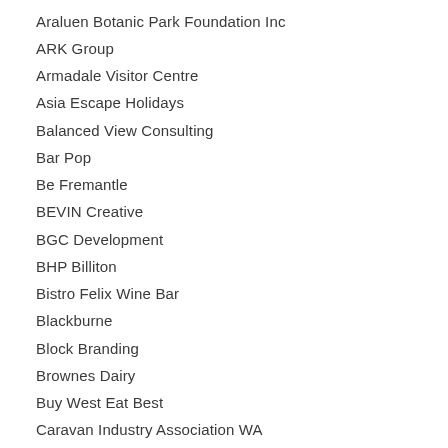Araluen Botanic Park Foundation Inc
ARK Group
Armadale Visitor Centre
Asia Escape Holidays
Balanced View Consulting
Bar Pop
Be Fremantle
BEVIN Creative
BGC Development
BHP Billiton
Bistro Felix Wine Bar
Blackburne
Block Branding
Brownes Dairy
Buy West Eat Best
Caravan Industry Association WA
Capricorn Seakayaking